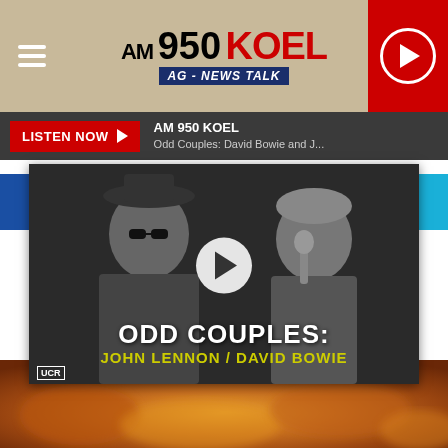AM 950 KOEL AG - NEWS TALK
LISTEN NOW  AM 950 KOEL  Odd Couples: David Bowie and J...
[Figure (screenshot): Video thumbnail showing black and white photo of John Lennon and David Bowie with text overlay: ODD COUPLES: JOHN LENNON / DAVID BOWIE, UCR logo, and a play button overlay]
This year, multiple Midwest restaurants are featured on this list. Two of these eateries are actually located right here in Iowa!
[Figure (photo): Blurred close-up photo of food items, warm orange and brown tones, appears to be bread or pastries]